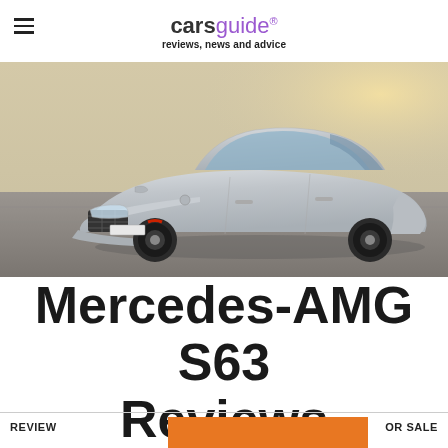carsguide reviews, news and advice
[Figure (photo): Silver Mercedes-AMG S63 luxury sedan photographed from the front-left angle on a patterned stone surface with sunlight in the background]
Mercedes-AMG S63 Reviews
REVIEWS | FOR SALE